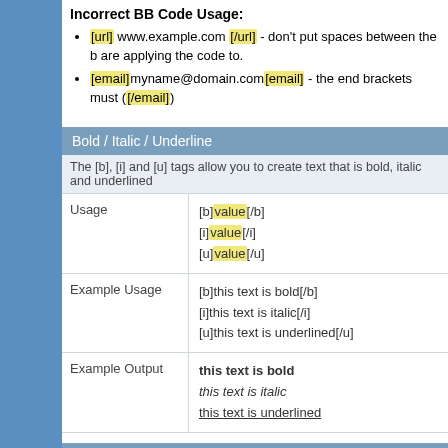Incorrect BB Code Usage:
[url] www.example.com [/url] - don't put spaces between the b are applying the code to.
[email]myname@domain.com[email] - the end brackets must ([/email])
Bold / Italic / Underline
The [b], [i] and [u] tags allow you to create text that is bold, italic and underlined
| Usage |  |
| --- | --- |
| Usage | [b]value[/b]
[i]value[/i]
[u]value[/u] |
| Example Usage | [b]this text is bold[/b]
[i]this text is italic[/i]
[u]this text is underlined[/u] |
| Example Output | this text is bold
this text is italic
this text is underlined |
Color
The [color] tag allows you to change the color of your text.
| Usage |  |
| --- | --- |
| Usage | [color=Option]value[/color] |
| Example Usage | [color=blue]this text is blue[/color] |